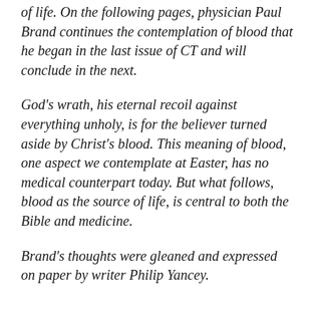of life. On the following pages, physician Paul Brand continues the contemplation of blood that he began in the last issue of CT and will conclude in the next.
God's wrath, his eternal recoil against everything unholy, is for the believer turned aside by Christ's blood. This meaning of blood, one aspect we contemplate at Easter, has no medical counterpart today. But what follows, blood as the source of life, is central to both the Bible and medicine.
Brand's thoughts were gleaned and expressed on paper by writer Philip Yancey.